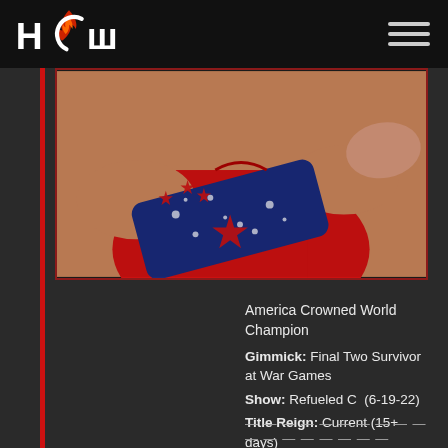HCW logo and navigation
[Figure (photo): Close-up photo of a female wrestler wearing a blue wrist wrap with red and white stars and a red wrestling outfit]
America Crowned World Champion
Gimmick: Final Two Survivor at War Games
Show: Refueled C (6-19-22)
Title Reign: Current (15+ days)
— — — — — — — — — — — — — — — —